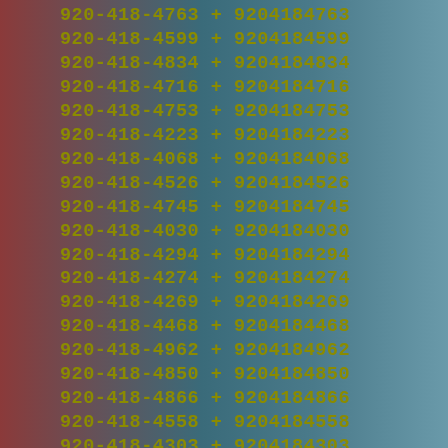920-418-4763 + 9204184763
920-418-4599 + 9204184599
920-418-4834 + 9204184834
920-418-4716 + 9204184716
920-418-4753 + 9204184753
920-418-4223 + 9204184223
920-418-4068 + 9204184068
920-418-4526 + 9204184526
920-418-4745 + 9204184745
920-418-4030 + 9204184030
920-418-4294 + 9204184294
920-418-4274 + 9204184274
920-418-4269 + 9204184269
920-418-4468 + 9204184468
920-418-4962 + 9204184962
920-418-4850 + 9204184850
920-418-4866 + 9204184866
920-418-4558 + 9204184558
920-418-4303 + 9204184303
920-418-4732 + 9204184732
920-418-4510 + 9204184510
920-418-4882 + 9204184882